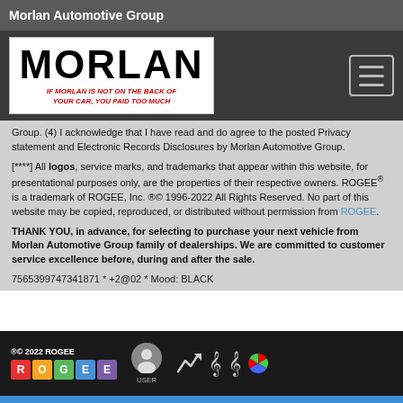Morlan Automotive Group
[Figure (logo): Morlan Automotive Group logo: large bold MORLAN text with tagline 'IF MORLAN IS NOT ON THE BACK OF YOUR CAR, YOU PAID TOO MUCH' in red italic]
Group. (4) I acknowledge that I have read and do agree to the posted Privacy statement and Electronic Records Disclosures by Morlan Automotive Group.
[****] All logos, service marks, and trademarks that appear within this website, for presentational purposes only, are the properties of their respective owners. ROGEE® is a trademark of ROGEE, Inc. ®© 1996-2022 All Rights Reserved. No part of this website may be copied, reproduced, or distributed without permission from ROGEE.
THANK YOU, in advance, for selecting to purchase your next vehicle from Morlan Automotive Group family of dealerships. We are committed to customer service excellence before, during and after the sale.
7565399747341871 * +2@02 * Mood: BLACK
®© 2022 ROGEE  R O G E E  USER